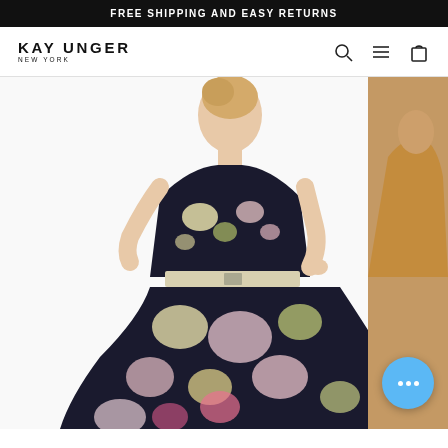FREE SHIPPING AND EASY RETURNS
[Figure (logo): Kay Unger New York logo — brand name in bold spaced caps with 'NEW YORK' subtitle below]
[Figure (photo): Woman wearing a floral belted midi dress with dark background floral print (pink, yellow, white flowers on black), white belt, sleeveless, full skirt, photographed against white background]
[Figure (photo): Partial view of second product photo on the right side showing warm tan/gold toned garment on model]